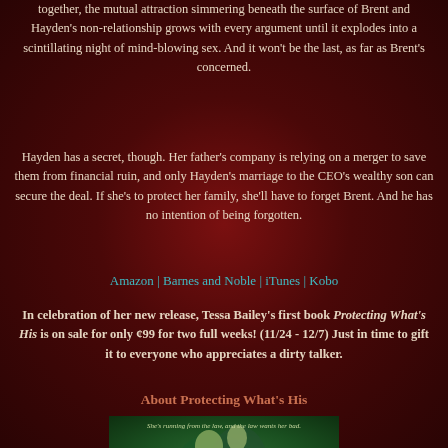together, the mutual attraction simmering beneath the surface of Brent and Hayden's non-relationship grows with every argument until it explodes into a scintillating night of mind-blowing sex. And it won't be the last, as far as Brent's concerned.
Hayden has a secret, though. Her father's company is relying on a merger to save them from financial ruin, and only Hayden's marriage to the CEO's wealthy son can secure the deal. If she's to protect her family, she'll have to forget Brent. And he has no intention of being forgotten.
Amazon | Barnes and Noble | iTunes | Kobo
In celebration of her new release, Tessa Bailey's first book Protecting What's His is on sale for only ¢99 for two full weeks! (11/24 - 12/7) Just in time to gift it to everyone who appreciates a dirty talker.
About Protecting What's His
[Figure (photo): Book cover for 'Protecting What's His' showing a couple in a green-tinted intimate scene with text 'She's running from the law, and the law wants her bad.']